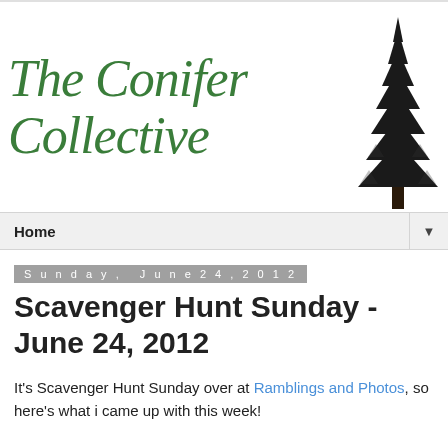[Figure (logo): The Conifer Collective blog logo with green cursive script text and a black conifer tree silhouette on the right]
Home ▼
Sunday, June 24, 2012
Scavenger Hunt Sunday - June 24, 2012
It's Scavenger Hunt Sunday over at Ramblings and Photos, so here's what i came up with this week!